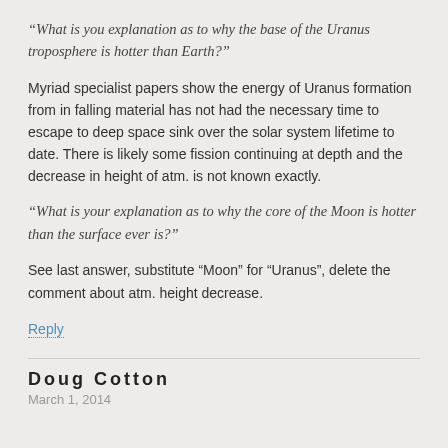“What is you explanation as to why the base of the Uranus troposphere is hotter than Earth?”
Myriad specialist papers show the energy of Uranus formation from in falling material has not had the necessary time to escape to deep space sink over the solar system lifetime to date. There is likely some fission continuing at depth and the decrease in height of atm. is not known exactly.
“What is your explanation as to why the core of the Moon is hotter than the surface ever is?”
See last answer, substitute “Moon” for “Uranus”, delete the comment about atm. height decrease.
Reply
Doug Cotton
March 1, 2014